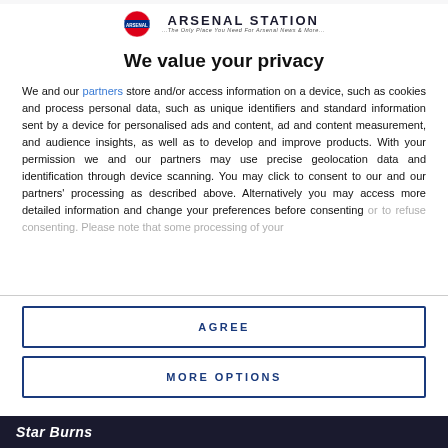[Figure (logo): Arsenal Station logo with London Underground roundel icon and text 'ARSENAL STATION' with tagline]
We value your privacy
We and our partners store and/or access information on a device, such as cookies and process personal data, such as unique identifiers and standard information sent by a device for personalised ads and content, ad and content measurement, and audience insights, as well as to develop and improve products. With your permission we and our partners may use precise geolocation data and identification through device scanning. You may click to consent to our and our partners' processing as described above. Alternatively you may access more detailed information and change your preferences before consenting or to refuse consenting. Please note that some processing of your
AGREE
MORE OPTIONS
Star Burns